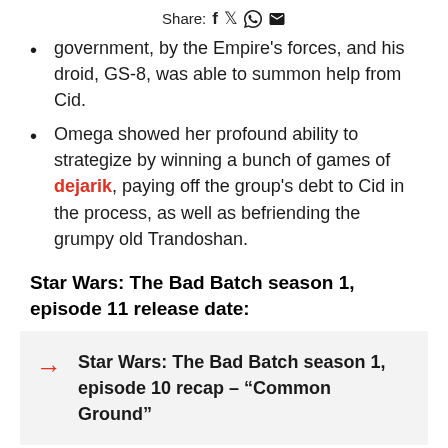Share: f 🐦 ⊙ ✉
government, by the Empire's forces, and his droid, GS-8, was able to summon help from Cid.
Omega showed her profound ability to strategize by winning a bunch of games of dejarik, paying off the group's debt to Cid in the process, as well as befriending the grumpy old Trandoshan.
Star Wars: The Bad Batch season 1, episode 11 release date:
Star Wars: The Bad Batch season 1, episode 10 recap – "Common Ground"